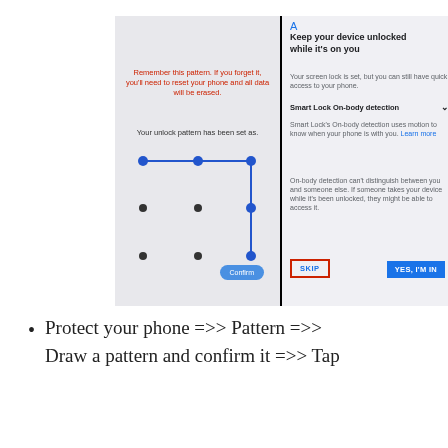[Figure (screenshot): Two smartphone screenshots side by side. Left screenshot shows an Android pattern lock confirmation screen with red warning text 'Remember this pattern. If you forget it, you'll need to reset your phone and all data will be erased.' and 'Your unlock pattern has been set as.' with a 3x3 dot grid showing an L-shaped pattern drawn in blue and a Confirm button. Right screenshot shows Android Smart Lock 'Keep your device unlocked while it's on you' screen with Smart Lock On-body detection option, Skip button highlighted with red border, and YES, I'M IN button.]
Protect your phone =>> Pattern =>> Draw a pattern and confirm it =>> Tap